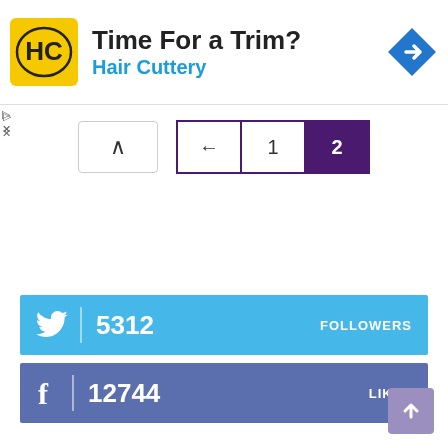[Figure (screenshot): Advertisement banner for Hair Cuttery with yellow logo, title 'Time For a Trim?', subtitle 'Hair Cuttery', and blue navigation diamond icon]
[Figure (screenshot): Pagination controls: up arrow button, back arrow button, page 1 button, page 2 button (active/selected in purple)]
5312 FOLLOWERS
12744 LIKES
[Figure (other): Scroll to top button, purple/lavender color with upward arrow]